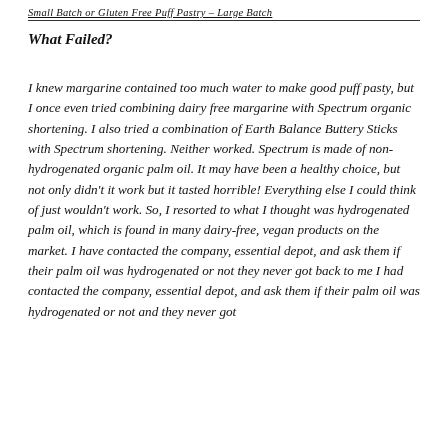Small Batch or Gluten Free Puff Pastry – Large Batch
What Failed?
I knew margarine contained too much water to make good puff pasty, but I once even tried combining dairy free margarine with Spectrum organic shortening. I also tried a combination of Earth Balance Buttery Sticks with Spectrum shortening. Neither worked. Spectrum is made of non-hydrogenated organic palm oil. It may have been a healthy choice, but not only didn't it work but it tasted horrible! Everything else I could think of just wouldn't work. So, I resorted to what I thought was hydrogenated palm oil, which is found in many dairy-free, vegan products on the market. I have contacted the company, essential depot, and ask them if their palm oil was hydrogenated or not they never got back to me I had contacted the company, essential depot, and ask them if their palm oil was hydrogenated or not and they never got